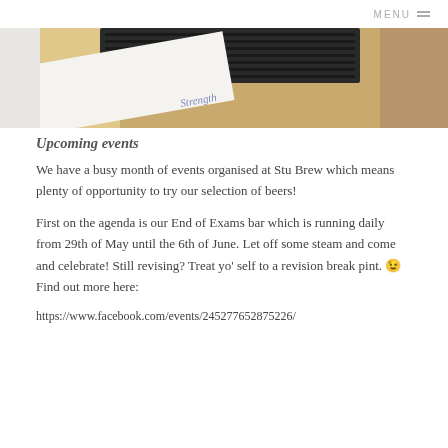MENU
[Figure (photo): A photograph showing a wooden surface with a black item and a piece of paper with handwriting partially visible, appearing to say 'Strength']
Upcoming events
We have a busy month of events organised at Stu Brew which means plenty of opportunity to try our selection of beers!
First on the agenda is our End of Exams bar which is running daily from 29th of May until the 6th of June. Let off some steam and come and celebrate! Still revising? Treat yo' self to a revision break pint. 😉 Find out more here:
https://www.facebook.com/events/245277652875226/